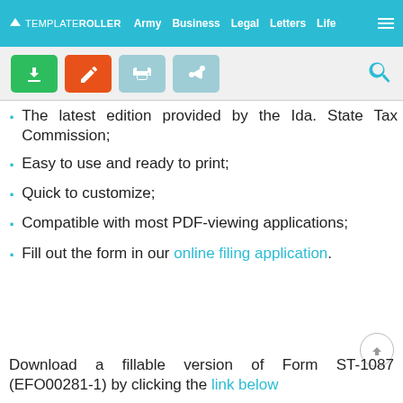TEMPLATEROLLER | Army | Business | Legal | Letters | Life
The latest edition provided by the Idaho State Tax Commission;
Easy to use and ready to print;
Quick to customize;
Compatible with most PDF-viewing applications;
Fill out the form in our online filing application.
Download a fillable version of Form ST-1087 (EFO00281-1) by clicking the link below